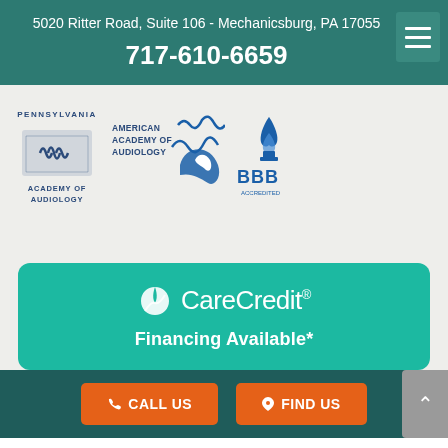5020 Ritter Road, Suite 106 - Mechanicsburg, PA 17055
717-610-6659
[Figure (logo): Pennsylvania Academy of Audiology logo]
[Figure (logo): American Academy of Audiology logo]
[Figure (logo): Better Business Bureau (BBB) logo]
[Figure (logo): CareCredit logo with text: Financing Available*]
CALL US   FIND US